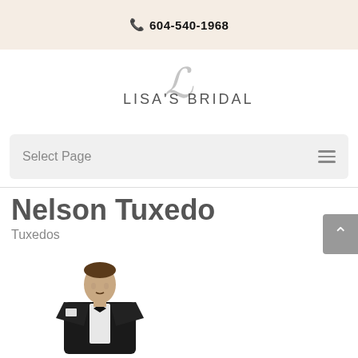604-540-1968
[Figure (logo): Lisa's Bridal logo with cursive L script overlaid on serif text reading LISA'S BRIDAL]
Select Page
Nelson Tuxedo
Tuxedos
[Figure (photo): A man wearing a black tuxedo with bow tie, white dress shirt, and pocket square, photographed from approximately waist up against a white background]